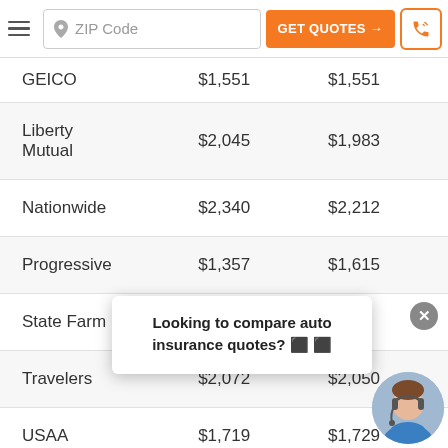Navigation bar with hamburger menu, ZIP Code input, GET QUOTES button, phone button
| Company | Rate 1 | Rate 2 |
| --- | --- | --- |
| GEICO | $1,551 | $1,551 |
| Liberty Mutual | $2,045 | $1,983 |
| Nationwide | $2,340 | $2,212 |
| Progressive | $1,357 | $1,615 |
| State Farm | $ |  |
| Travelers | $2,072 | $2,050 |
| USAA | $1,719 | $1,729 |
Looking to compare auto insurance quotes? 🔥 🔥